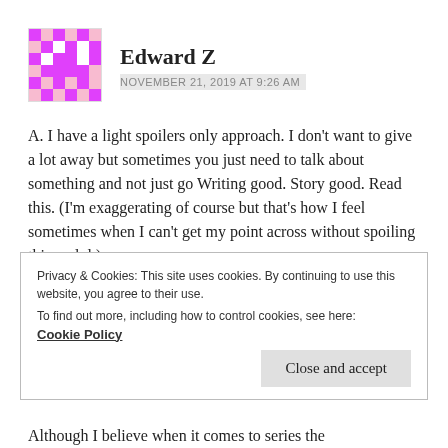Edward Z
NOVEMBER 21, 2019 AT 9:26 AM
A. I have a light spoilers only approach. I don't want to give a lot away but sometimes you just need to talk about something and not just go Writing good. Story good. Read this. (I'm exaggerating of course but that's how I feel sometimes when I can't get my point across without spoiling things. lol.)
I typically just bring something up and talk about it
Privacy & Cookies: This site uses cookies. By continuing to use this website, you agree to their use.
To find out more, including how to control cookies, see here:
Cookie Policy
Close and accept
Although I believe when it comes to series the